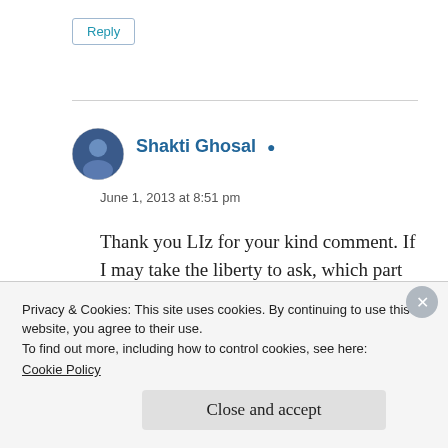Reply
Shakti Ghosal
June 1, 2013 at 8:51 pm
Thank you LIz for your kind comment. If I may take the liberty to ask, which part of the post resonated with you?
Privacy & Cookies: This site uses cookies. By continuing to use this website, you agree to their use.
To find out more, including how to control cookies, see here:
Cookie Policy
Close and accept